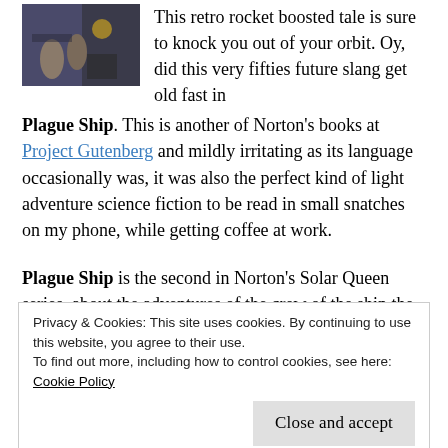[Figure (photo): Book cover image of Plague Ship, showing retro sci-fi artwork with figures in a dark setting]
This retro rocket boosted tale is sure to knock you out of your orbit. Oy, did this very fifties future slang get old fast in Plague Ship. This is another of Norton's books at Project Gutenberg and mildly irritating as its language occasionally was, it was also the perfect kind of light adventure science fiction to be read in small snatches on my phone, while getting coffee at work.
Plague Ship is the second in Norton's Solar Queen series, about the adventures of the crew of the ship the series is named after, free traders trying to eke out a
Privacy & Cookies: This site uses cookies. By continuing to use this website, you agree to their use.
To find out more, including how to control cookies, see here:
Cookie Policy
Close and accept
master-apprentice and our hero, prone to saying things